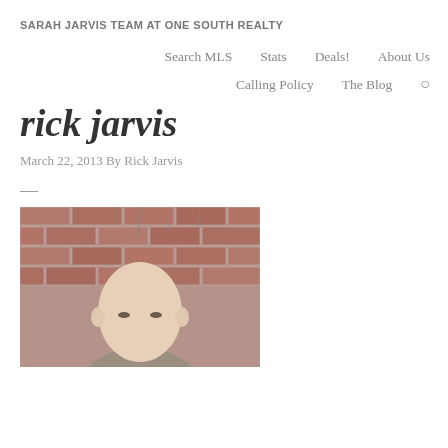SARAH JARVIS TEAM AT ONE SOUTH REALTY
Search MLS
Stats
Deals!
About Us
Calling Policy
The Blog
rick jarvis
March 22, 2013 By Rick Jarvis
[Figure (photo): Photograph of Rick Jarvis, a bald man, shown from roughly shoulders up, in front of a brick wall background.]